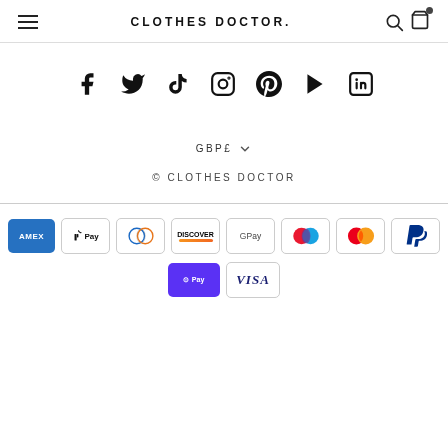CLOTHES DOCTOR.
[Figure (infographic): Social media icons row: Facebook, Twitter, TikTok, Instagram, Pinterest, YouTube, LinkedIn]
GBP£ ∨
© CLOTHES DOCTOR
[Figure (infographic): Payment method logos: Amex, Apple Pay, Diners Club, Discover, Google Pay, Maestro, Mastercard, PayPal, Shop Pay, Visa]